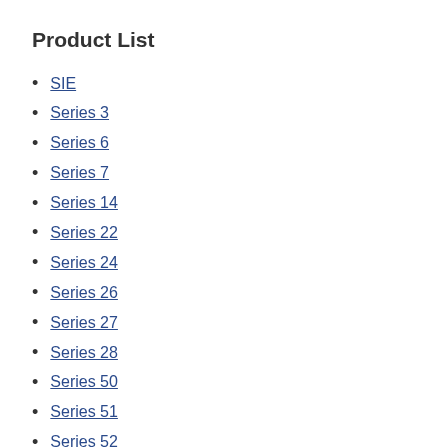Product List
SIE
Series 3
Series 6
Series 7
Series 14
Series 22
Series 24
Series 26
Series 27
Series 28
Series 50
Series 51
Series 52
Series 53